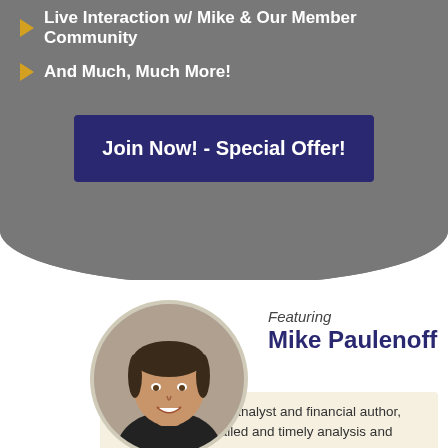Live Interaction w/ Mike & Our Member Community
And Much, Much More!
Join Now! - Special Offer!
[Figure (photo): Headshot of Mike Paulenoff, a man smiling, wearing a dark shirt, circular cropped photo]
Featuring
Mike Paulenoff
Veteran Wall Street analyst and financial author, Mike provides detailed and timely analysis and trade set-ups